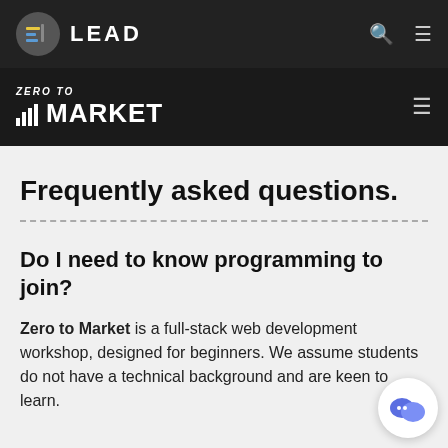LEAD (navigation logo and menu)
ZERO TO MARKET (secondary navigation)
Frequently asked questions.
Do I need to know programming to join?
Zero to Market is a full-stack web development workshop, designed for beginners. We assume students do not have a technical background and are keen to learn.